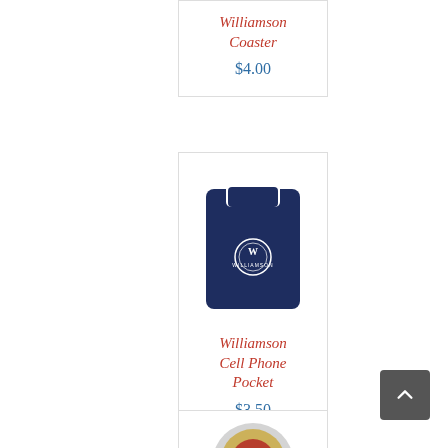Williamson Coaster
$4.00
[Figure (photo): Navy blue silicone cell phone pocket/wallet with Williamson logo (circle with W) on the front]
Williamson Cell Phone Pocket
$3.50
[Figure (photo): Partially visible product image at the bottom of the page]